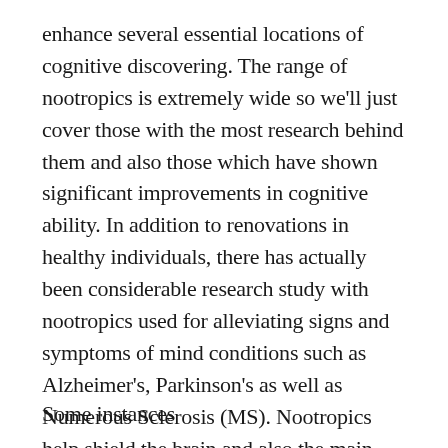enhance several essential locations of cognitive discovering. The range of nootropics is extremely wide so we'll just cover those with the most research behind them and also those which have shown significant improvements in cognitive ability. In addition to renovations in healthy individuals, there has actually been considerable research study with nootropics used for alleviating signs and symptoms of mind conditions such as Alzheimer's, Parkinson's as well as Numerous Sclerosis (MS). Nootropics help shield the brain and also the main nervous system from damages.
Some instances